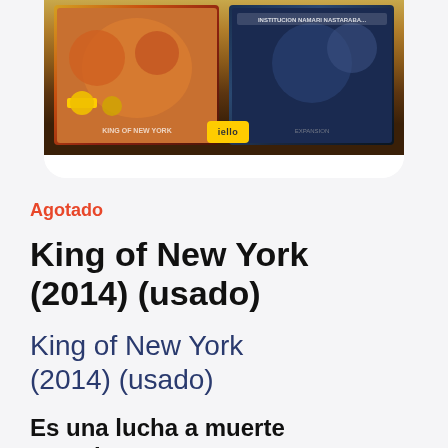[Figure (photo): Product photo of King of New York board game box, showing two illustrated box panels with colorful monster/creature artwork, displayed against a white rounded card background]
Agotado
King of New York (2014) (usado)
King of New York (2014) (usado)
Es una lucha a muerte cuando monstruos